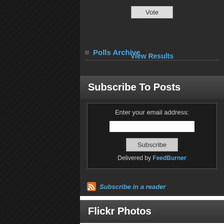Vote
View Results
Polls Archive
Subscribe To Posts
Enter your email address:
Subscribe
Delivered by FeedBurner
Subscribe in a reader
Flickr Photos